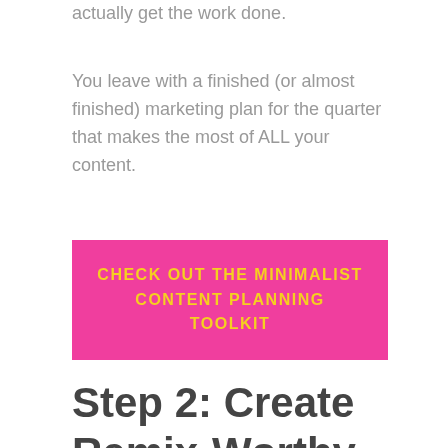actually get the work done.
You leave with a finished (or almost finished) marketing plan for the quarter that makes the most of ALL your content.
[Figure (other): Pink call-to-action button with yellow uppercase text: CHECK OUT THE MINIMALIST CONTENT PLANNING TOOLKIT]
Step 2: Create Remix-Worthy